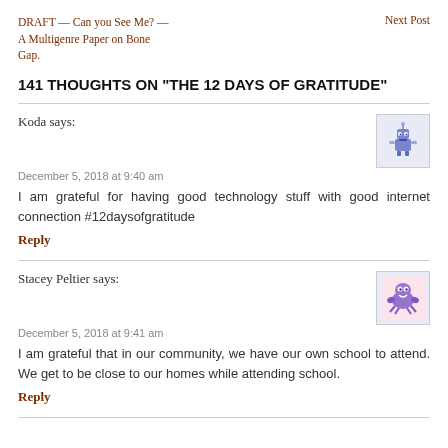DRAFT — Can you See Me? — A Multigenre Paper on Bone Gap.
Next Post
141 THOUGHTS ON “THE 12 DAYS OF GRATITUDE”
Koda says:
December 5, 2018 at 9:40 am
I am grateful for having good technology stuff with good internet connection #12daysofgratitude
Reply
Stacey Peltier says:
December 5, 2018 at 9:41 am
I am grateful that in our community, we have our own school to attend. We get to be close to our homes while attending school.
Reply